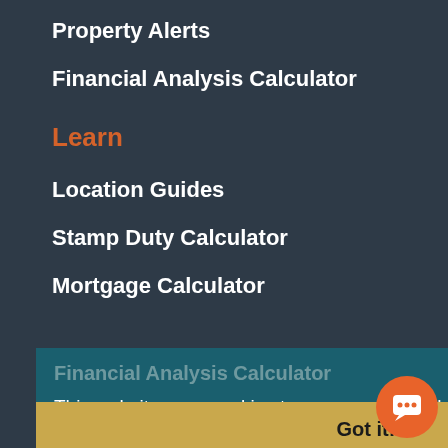Property Alerts
Financial Analysis Calculator
Learn
Location Guides
Stamp Duty Calculator
Mortgage Calculator
Financial Analysis Calculator
This website uses cookies to ensure you get the best experience on our website.
Contact
Learn more
General Enquiries
Got it!
info@vestaproperty.com
+44 20 3950 8310